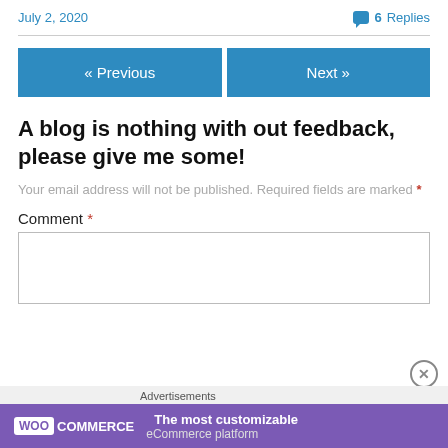July 2, 2020   6 Replies
« Previous   Next »
A blog is nothing with out feedback, please give me some!
Your email address will not be published. Required fields are marked *
Comment *
[Figure (screenshot): Empty comment text area input box]
[Figure (logo): WooCommerce advertisement banner: WOO COMMERCE logo with text 'The most customizable eCommerce platform']